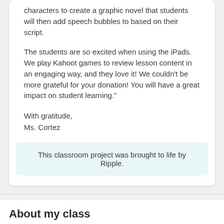characters to create a graphic novel that students will then add speech bubbles to based on their script.
The students are so excited when using the iPads. We play Kahoot games to review lesson content in an engaging way, and they love it! We couldn't be more grateful for your donation! You will have a great impact on student learning."
With gratitude,
Ms. Cortez
This classroom project was brought to life by Ripple.
About my class